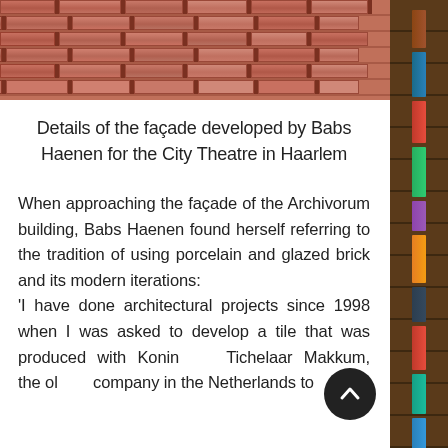[Figure (photo): Close-up photo of a red brick façade/wall at the top of the page]
Details of the façade developed by Babs Haenen for the City Theatre in Haarlem
When approaching the façade of the Archivorum building, Babs Haenen found herself referring to the tradition of using porcelain and glazed brick and its modern iterations:
'I have done architectural projects since 1998 when I was asked to develop a tile that was produced with Koninklijke Tichelaar Makkum, the oldest company in the Netherlands to
[Figure (photo): Photo of a bookshelf with colorful spines of books, visible on the right side of the page]